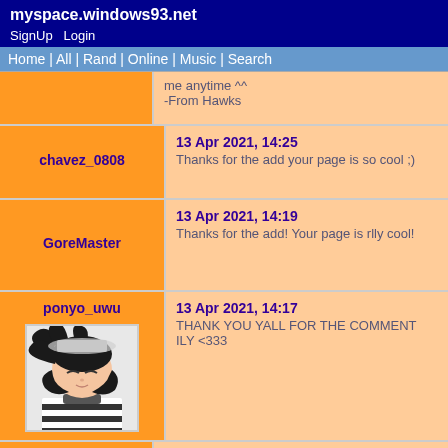myspace.windows93.net
SignUp  Login
Home | All | Rand | Online | Music | Search
me anytime ^^
-From Hawks
chavez_0808
13 Apr 2021, 14:25
Thanks for the add your page is so cool ;)
GoreMaster
13 Apr 2021, 14:19
Thanks for the add! Your page is rlly cool!
ponyo_uwu
13 Apr 2021, 14:17
THANK YOU YALL FOR THE COMMENT ILY <333
ghostgirl.gizelle
13 Apr 2021, 14:15